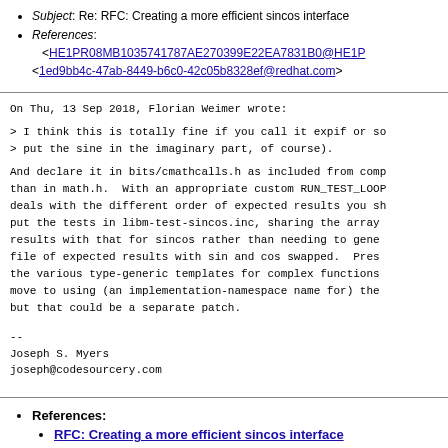Subject: Re: RFC: Creating a more efficient sincos interface
References: <HE1PR08MB1035741787AE270399E22EA7831B0@HE1P...> <1ed9bb4c-47ab-8449-b6c0-42c05b8328ef@redhat.com>
On Thu, 13 Sep 2018, Florian Weimer wrote:

> I think this is totally fine if you call it expif or so
> put the sine in the imaginary part, of course).

And declare it in bits/cmathcalls.h as included from comp than in math.h.  With an appropriate custom RUN_TEST_LOOP deals with the different order of expected results you sh put the tests in libm-test-sincos.inc, sharing the array results with that for sincos rather than needing to gene file of expected results with sin and cos swapped.  Pres the various type-generic templates for complex functions move to using (an implementation-namespace name for) the but that could be a separate patch.

--
Joseph S. Myers
joseph@codesourcery.com
References:
RFC: Creating a more efficient sincos interface